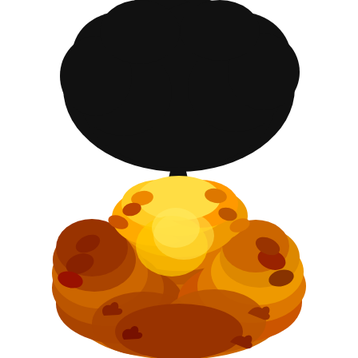[Figure (illustration): Two trees on a white background. Top half: a black silhouette of a large mature tree with a wide canopy and thick trunk, roots visible on a small mound of ground. Bottom half: a colorful autumn tree with dense foliage in shades of orange, yellow, red, and brown, with a visible brown trunk and branches.]